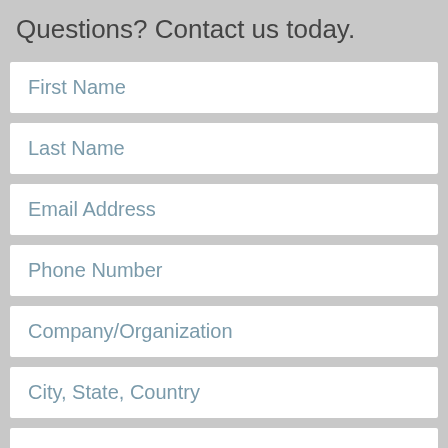Questions? Contact us today.
First Name
Last Name
Email Address
Phone Number
Company/Organization
City, State, Country